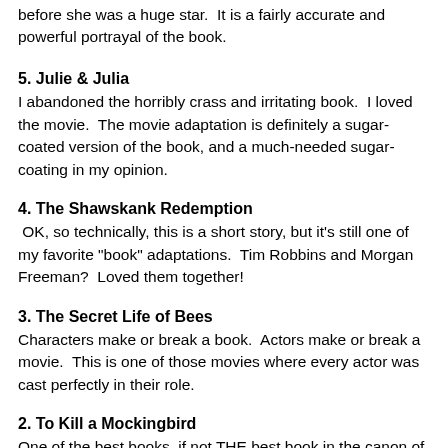before she was a huge star.  It is a fairly accurate and powerful portrayal of the book.
5. Julie & Julia
I abandoned the horribly crass and irritating book.  I loved the movie.  The movie adaptation is definitely a sugar-coated version of the book, and a much-needed sugar-coating in my opinion.
4. The Shawskank Redemption
OK, so technically, this is a short story, but it's still one of my favorite "book" adaptations.  Tim Robbins and Morgan Freeman?  Loved them together!
3. The Secret Life of Bees
Characters make or break a book.  Actors make or break a movie.  This is one of those movies where every actor was cast perfectly in their role.
2. To Kill a Mockingbird
One of the best books, if not THE best book in the canon of American literature.  It's amazing that a movie based on such